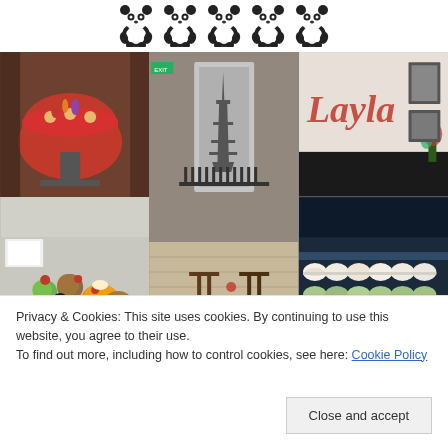[Figure (illustration): Five panda bear pixel-art icons arranged in a row at the top of the page]
[Figure (photo): Collage of 6 photos from a French patisserie/cafe: decorated cake, interior with Eiffel Tower mural, cafe exterior signage, petit fours and pastries display, bottom row of interior/food shots, and a colorful macaron display]
Privacy & Cookies: This site uses cookies. By continuing to use this website, you agree to their use.
To find out more, including how to control cookies, see here: Cookie Policy
Close and accept